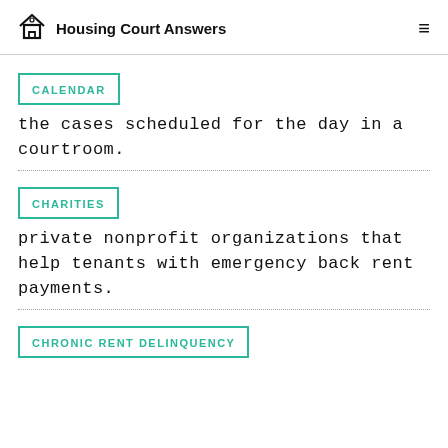Housing Court Answers
CALENDAR
the cases scheduled for the day in a courtroom.
CHARITIES
private nonprofit organizations that help tenants with emergency back rent payments.
CHRONIC RENT DELINQUENCY